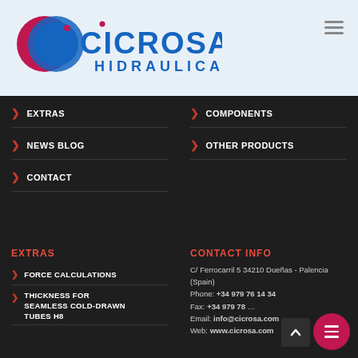[Figure (logo): Cicrosa Hidraulica logo — red and blue circular icon with company name in blue, subtitle HIDRAULICA in blue]
> EXTRAS
> COMPONENTS
> NEWS BLOG
> OTHER PRODUCTS
> CONTACT
EXTRAS
CONTACT INFO
> FORCE CALCULATIONS
> THICKNESS FOR SEAMLESS COLD-DRAWN TUBES H8
C/ Ferrocarril 5 34210 Dueñas - Palencia (Spain)
Phone: +34 979 76 14 34
Fax: +34 979 78...
Email: info@cicrosa.com
Web: www.cicrosa.com